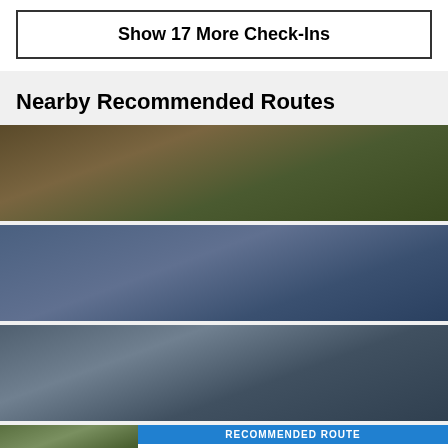Show 17 More Check-Ins
Nearby Recommended Routes
RECOMMENDED ROUTE | Sugarlands Valley Nature Trail | 0.5 mi · 23' Up · 23' Down | ★★★★½ Gatlinburg, TN
RECOMMENDED ROUTE | Rainbow Falls | 5.4 mi · 1,607' Up · 1,607' Down | ★★★★½ Gatlinburg, TN
RECOMMENDED ROUTE | Mount Le Conte Loop | 16.0 mi · 3,960' Up · 3,964' Down | ★★★★½ Bryson..., NC
RECOMMENDED ROUTE | Mount Leconte: 6-Routes 3-Summits